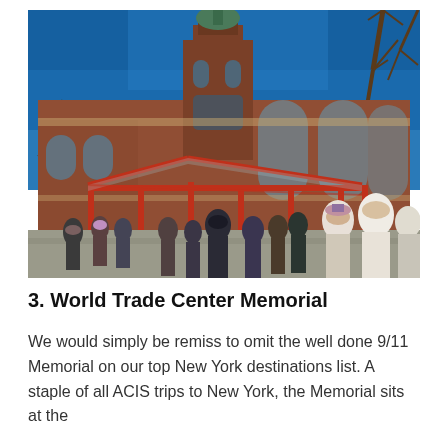[Figure (photo): Outdoor photo of a large red-brick historic building with a green-capped tower, under a bright blue sky. In the foreground is a red metal pergola/canopy structure and a crowd of people, likely students, viewed from behind.]
3. World Trade Center Memorial
We would simply be remiss to omit the well done 9/11 Memorial on our top New York destinations list. A staple of all ACIS trips to New York, the Memorial sits at the